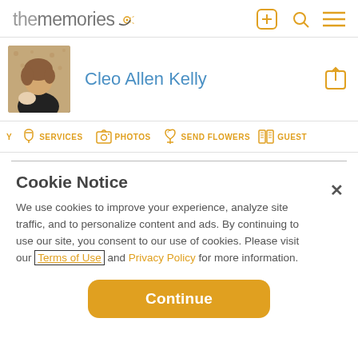thememories
Cleo Allen Kelly
SERVICES   PHOTOS   SEND FLOWERS   GUEST
Cookie Notice
We use cookies to improve your experience, analyze site traffic, and to personalize content and ads. By continuing to use our site, you consent to our use of cookies. Please visit our Terms of Use and Privacy Policy for more information.
Continue